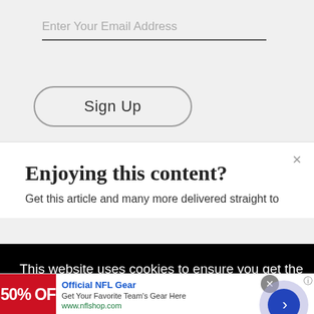Enter Your Email Address
[Figure (screenshot): Sign Up button with rounded rectangle border]
[Figure (screenshot): Close X button (×) for modal dismissal]
Enjoying this content?
Get this article and many more delivered straight to
This website uses cookies to ensure you get the best experience on our website. Learn More
[Figure (screenshot): Advertisement banner: Official NFL Gear - 50% OFF red image, Get Your Favorite Team's Gear Here, www.nflshop.com, with arrow navigation button]